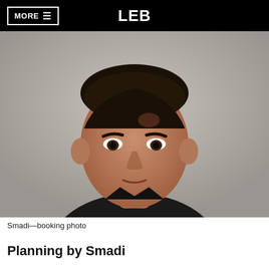MORE ≡  LEB
[Figure (photo): Booking photo (mugshot) of Smadi — a young man with dark hair wearing a dark shirt, against a neutral gray background.]
Smadi—booking photo
Planning by Smadi